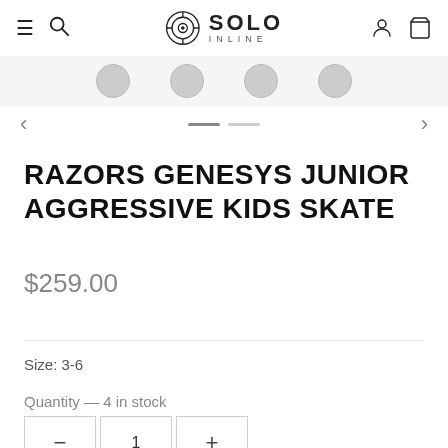Solo Inline — navigation header with hamburger, search, logo, account, and cart icons
RAZORS GENESYS JUNIOR AGGRESSIVE KIDS SKATE
$259.00
Size: 3-6
Quantity — 4 in stock